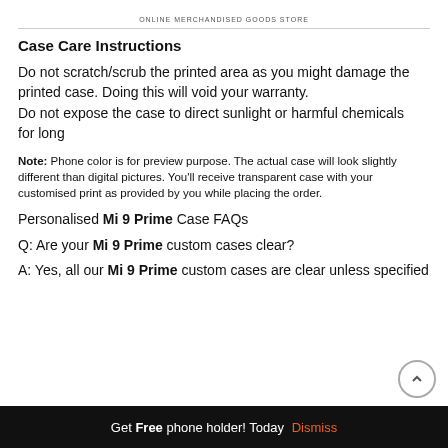ONLINE MERCHANDISED GOODS STORE
Case Care Instructions
Do not scratch/scrub the printed area as you might damage the printed case. Doing this will void your warranty. Do not expose the case to direct sunlight or harmful chemicals for long
Note: Phone color is for preview purpose. The actual case will look slightly different than digital pictures. You’ll receive transparent case with your customised print as provided by you while placing the order.
Personalised Mi 9 Prime Case FAQs
Q: Are your Mi 9 Prime custom cases clear?
A: Yes, all our Mi 9 Prime custom cases are clear unless specified
Get Free phone holder! Today Dismiss